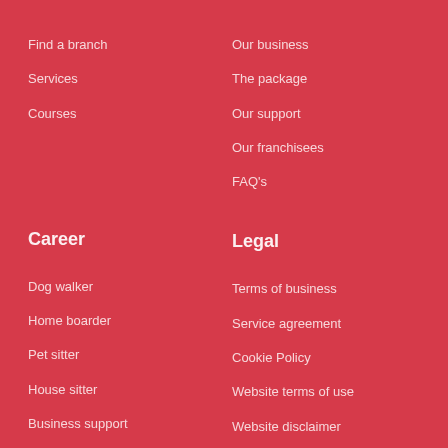Find a branch
Our business
Services
The package
Courses
Our support
Our franchisees
FAQ's
Career
Legal
Dog walker
Terms of business
Home boarder
Service agreement
Pet sitter
Cookie Policy
House sitter
Website terms of use
Business support
Website disclaimer
Privacy Policy